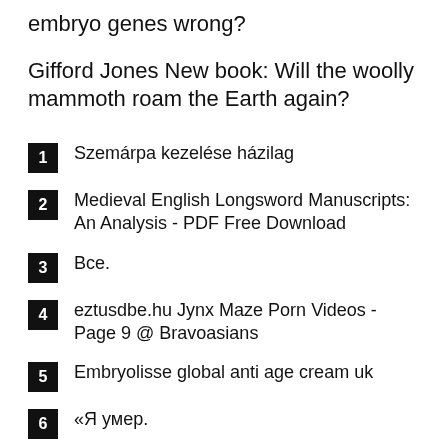embryo genes wrong?
Gifford Jones New book: Will the woolly mammoth roam the Earth again?
1 Szemárpa kezelése házilag
2 Medieval English Longsword Manuscripts: An Analysis - PDF Free Download
3 Все.
4 eztusdbe.hu Jynx Maze Porn Videos - Page 9 @ Bravoasians
5 Embryolisse global anti age cream uk
6 «Я умер.